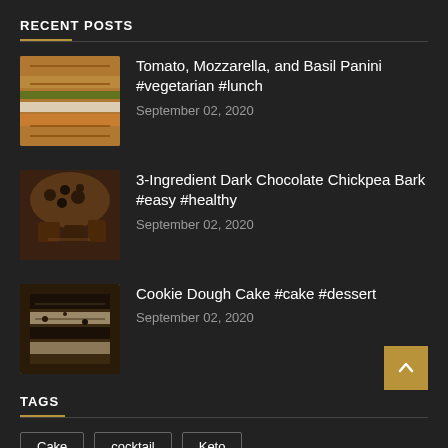RECENT POSTS
Tomato, Mozzarella, and Basil Panini #vegetarian #lunch
September 02, 2020
3-Ingredient Dark Chocolate Chickpea Bark #easy #healthy
September 02, 2020
Cookie Dough Cake #cake #dessert
September 02, 2020
TAGS
Cake
cocktail
Keto
POPULAR POSTS